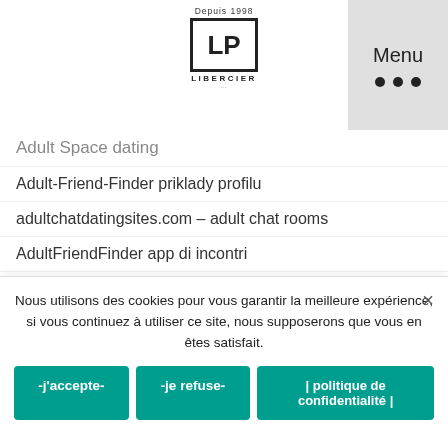Libercier — Menu
Adult Space dating
Adult-Friend-Finder priklady profilu
adultchatdatingsites.com – adult chat rooms
AdultFriendFinder app di incontri
adultfriendfinder best dating apps
Adultfriendfinder dating
AdultFriendFinder gratis app
adultfriendfinder it review
Adultfriendfinder precio
AdultFriendFinder
Nous utilisons des cookies pour vous garantir la meilleure expérience, si vous continuez à utiliser ce site, nous supposerons que vous en êtes satisfait.
-j'accepte-
-je refuse-
| politique de confidentialité |